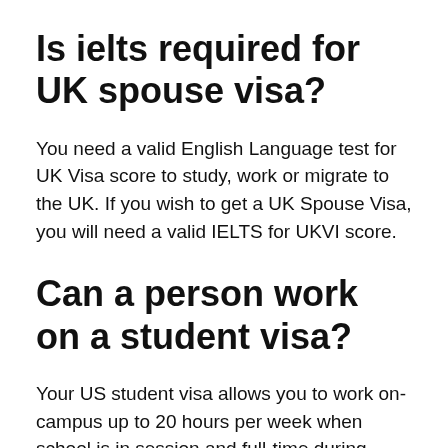Is ielts required for UK spouse visa?
You need a valid English Language test for UK Visa score to study, work or migrate to the UK. If you wish to get a UK Spouse Visa, you will need a valid IELTS for UKVI score.
Can a person work on a student visa?
Your US student visa allows you to work on-campus up to 20 hours per week when school is in session and full-time during school break periods (up to 40 hours per week). On-campus employment is defined as work that takes place on campus, or at an